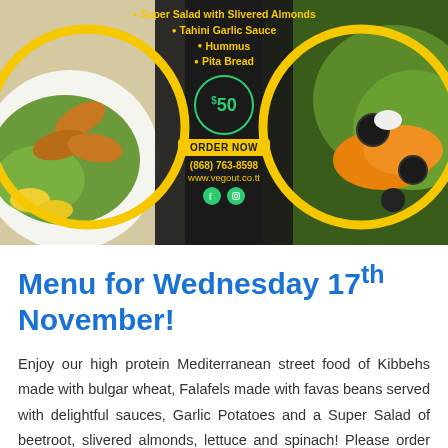[Figure (infographic): Food advertisement banner on black background with yellow circular ring frames around two food photos (fried kibbeh on left, colorful salad on right). Center text lists menu items: Super Salad with Slivered Almonds, Tahini Garlic Sauce, Hummus, Pita Bread. Shows price $50 in green circle, ORDER NOW button, phone (868) 763-8598, website www.vegout.co.tt, and social media icons.]
Menu for Wednesday 17th November!
Enjoy our high protein Mediterranean street food of Kibbehs made with bulgar wheat, Falafels made with favas beans served with delightful sauces, Garlic Potatoes and a Super Salad of beetroot, slivered almonds, lettuce and spinach! Please order before 6.00 p.m. on Tuesday. Due to Covid protocols, we will be delivering to